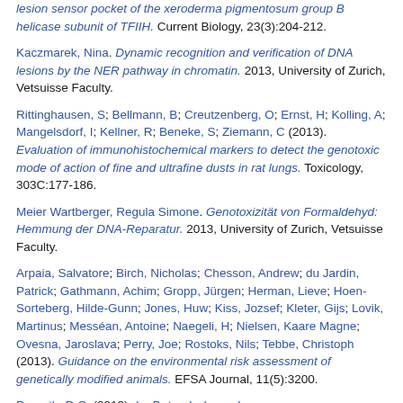lesion sensor pocket of the xeroderma pigmentosum group B helicase subunit of TFIIH. Current Biology, 23(3):204-212.
Kaczmarek, Nina. Dynamic recognition and verification of DNA lesions by the NER pathway in chromatin. 2013, University of Zurich, Vetsuisse Faculty.
Rittinghausen, S; Bellmann, B; Creutzenberg, O; Ernst, H; Kolling, A; Mangelsdorf, I; Kellner, R; Beneke, S; Ziemann, C (2013). Evaluation of immunohistochemical markers to detect the genotoxic mode of action of fine and ultrafine dusts in rat lungs. Toxicology, 303C:177-186.
Meier Wartberger, Regula Simone. Genotoxizität von Formaldehyd: Hemmung der DNA-Reparatur. 2013, University of Zurich, Vetsuisse Faculty.
Arpaia, Salvatore; Birch, Nicholas; Chesson, Andrew; du Jardin, Patrick; Gathmann, Achim; Gropp, Jürgen; Herman, Lieve; Hoen-Sorteberg, Hilde-Gunn; Jones, Huw; Kiss, Jozsef; Kleter, Gijs; Lovik, Martinus; Messéan, Antoine; Naegeli, H; Nielsen, Kaare Magne; Ovesna, Jaroslava; Perry, Joe; Rostoks, Nils; Tebbe, Christoph (2013). Guidance on the environmental risk assessment of genetically modified animals. EFSA Journal, 11(5):3200.
Domuth, D.C. (2013). Im Datendschungel.